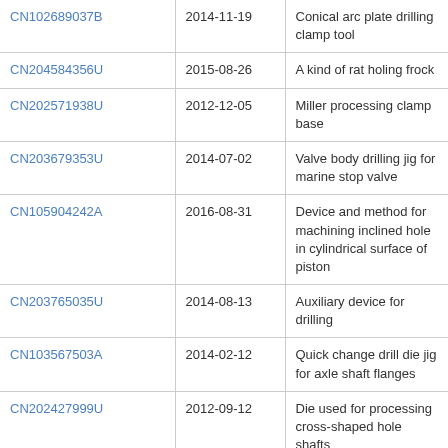| CN102689037B | 2014-11-19 | Conical arc plate drilling clamp tool |
| CN204584356U | 2015-08-26 | A kind of rat holing frock |
| CN202571938U | 2012-12-05 | Miller processing clamp base |
| CN203679353U | 2014-07-02 | Valve body drilling jig for marine stop valve |
| CN105904242A | 2016-08-31 | Device and method for machining inclined hole in cylindrical surface of piston |
| CN203765035U | 2014-08-13 | Auxiliary device for drilling |
| CN103567503A | 2014-02-12 | Quick change drill die jig for axle shaft flanges |
| CN202427999U | 2012-09-12 | Die used for processing cross-shaped hole shafts |
| CN202684159U | 2013-01-23 | Semi-shaft flange quick replaceable drill jig sleeve |